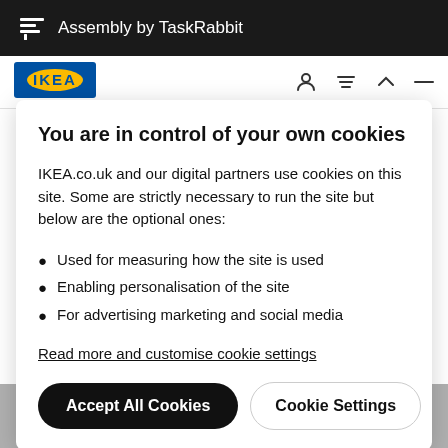Assembly by TaskRabbit
[Figure (logo): IKEA logo - blue and yellow]
You are in control of your own cookies
IKEA.co.uk and our digital partners use cookies on this site. Some are strictly necessary to run the site but below are the optional ones:
Used for measuring how the site is used
Enabling personalisation of the site
For advertising marketing and social media
Read more and customise cookie settings
Accept All Cookies
Cookie Settings
[Figure (photo): Partial product image at bottom of page]